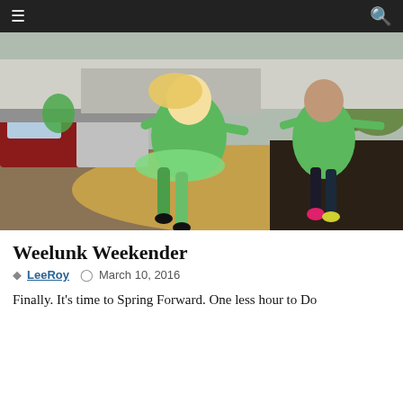Navigation bar with hamburger menu and search icon
[Figure (photo): Two women wearing bright green t-shirts and leggings jumping enthusiastically outdoors near a parking lot. One wears a green tutu. They appear to be celebrating St. Patrick's Day.]
Weelunk Weekender
LeeRoy   March 10, 2016
Finally.  It's time to Spring Forward.  One less hour to Do
We use cookies to ensure that we give you the best experience on website. By continuing to use this site you agree to the use of
[Figure (infographic): Advertisement banner for Snapple zero sugar 100% flavor drink with Shop Now button and Available at Publix badge on blue background]